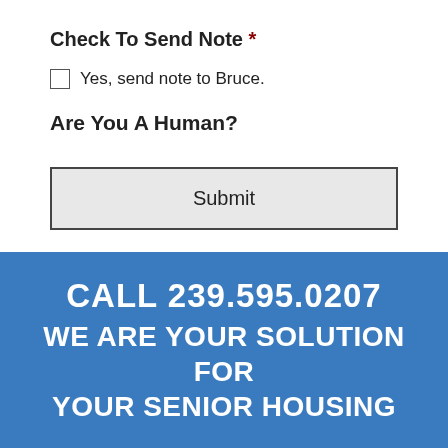Check To Send Note *
Yes, send note to Bruce.
Are You A Human?
Submit
CALL 239.595.0207
WE ARE YOUR SOLUTION FOR YOUR SENIOR HOUSING